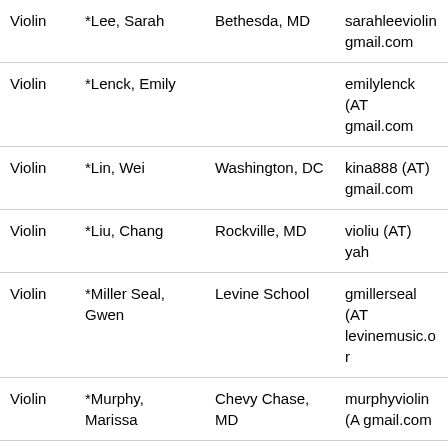| Instrument | Name | Location | Email |
| --- | --- | --- | --- |
| Violin | *Lee, Sarah | Bethesda, MD | sarahleeviolin gmail.com |
| Violin | *Lenck, Emily |  | emilylenck (AT) gmail.com |
| Violin | *Lin, Wei | Washington, DC | kina888 (AT) gmail.com |
| Violin | *Liu, Chang | Rockville, MD | violiu (AT) yah |
| Violin | *Miller Seal, Gwen | Levine School | gmillerseal (AT) levinemusic.or |
| Violin | *Murphy, Marissa | Chevy Chase, MD | murphyviolin (A gmail.com |
| Violin | *Orozco, Jorge | Rockville, MD | orozcoviolin (A gmail.com |
| Violin | *Park, Annie | Bethesda, MD | anp mai |